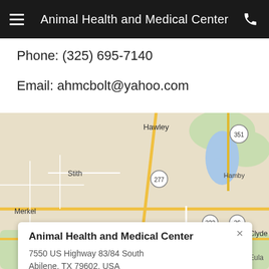Animal Health and Medical Center
Phone:  (325) 695-7140
Email:  ahmcbolt@yahoo.com
[Figure (map): Google Maps screenshot showing the area around Abilene, TX with locations including Hawley, Stith, Hamby, Merkel, Caps, Wylie, Clyde, Eula, Potosi, Buffalo Gap, and highway markers 277, 322, 36, 84, 351. A red map pin marks the location of Animal Health and Medical Center near Wylie. A popup card shows: Animal Health and Medical Center, 7550 US Highway 83/84 South, Abilene, TX 79602, USA.]